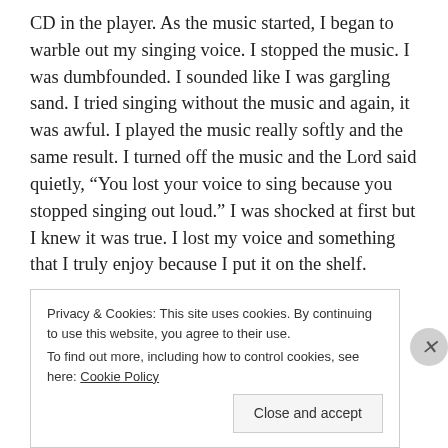CD in the player. As the music started, I began to warble out my singing voice. I stopped the music. I was dumbfounded. I sounded like I was gargling sand. I tried singing without the music and again, it was awful. I played the music really softly and the same result. I turned off the music and the Lord said quietly, “You lost your voice to sing because you stopped singing out loud.” I was shocked at first but I knew it was true. I lost my voice and something that I truly enjoy because I put it on the shelf.

The good news…it came back. I got back into my worship
Privacy & Cookies: This site uses cookies. By continuing to use this website, you agree to their use.
To find out more, including how to control cookies, see here: Cookie Policy
Close and accept